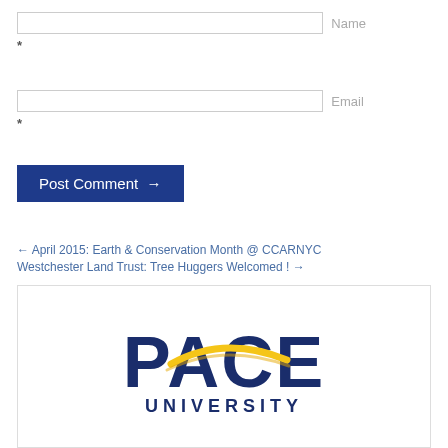Name
*
Email
*
Post Comment →
← April 2015: Earth & Conservation Month @ CCARNYC
Westchester Land Trust: Tree Huggers Welcomed ! →
[Figure (logo): Pace University logo with PACE text in dark navy blue and a gold arc/swoosh, with UNIVERSITY text below]